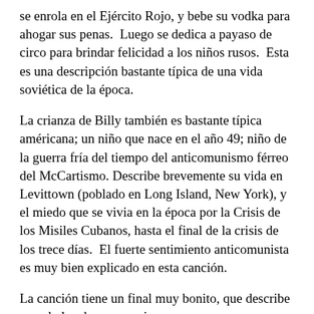se enrola en el Ejército Rojo, y bebe su vodka para ahogar sus penas.  Luego se dedica a payaso de circo para brindar felicidad a los niños rusos.  Esta es una descripción bastante típica de una vida soviética de la época.
La crianza de Billy también es bastante típica américana; un niño que nace en el año 49; niño de la guerra fría del tiempo del anticomunismo férreo del McCartismo. Describe brevemente su vida en Levittown (poblado en Long Island, New York), y el miedo que se vivia en la época por la Crisis de los Misiles Cubanos, hasta el final de la crisis de los trece días.  El fuerte sentimiento anticomunista es muy bien explicado en esta canción.
La canción tiene un final muy bonito, que describe cuando los dos personajes se conocen en Leningrado, durante la gira de Billy (Viktor viajó a través de Rusia para presenciar los seis conciertos), donde Viktor le saca